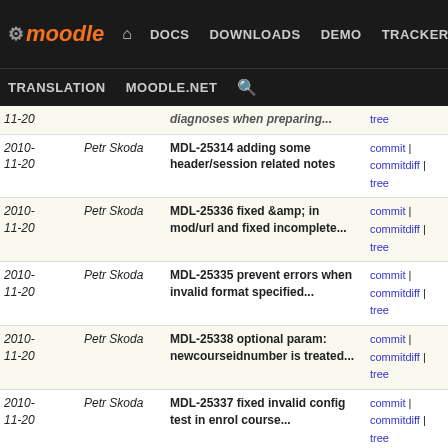Moodle | DOCS | DOWNLOADS | DEMO | TRACKER | DEV | TRANSLATION | MOODLE.NET
| Date | Author | Message | Links |
| --- | --- | --- | --- |
| 2010-11-20 | Petr Skoda | MDL-25314 adding some header/session related notes | commit | commitdiff | tree |
| 2010-11-20 | Petr Skoda | MDL-25336 fixed &amp; in mod/url and fixed incomplete... | commit | commitdiff | tree |
| 2010-11-20 | Petr Skoda | MDL-25335 prevent errors when invalid format specified... | commit | commitdiff | tree |
| 2010-11-20 | Petr Skoda | MDL-25338 optional param: newcourseidnumber is treated... | commit | commitdiff | tree |
| 2010-11-20 | Petr Skoda | MDL-25337 fixed invalid config test in enrol course... | commit | commitdiff | tree |
| 2010-11-19 | Petr Skoda | trying to work around gzip issue | commit | commitdiff | tree |
| 2010-11-19 | Petr Skoda | MDL-25314 improved prevention of output buffering ... | commit | commitdiff | tree |
| 2010-11-19 | Petr Skoda | MDL-25314 getting rid of @ hiding error | commit | commitdiff | tree |
| 2010-11-18 | Petr Skoda | fixing regression in the last commit | commit | commitdiff | tree |
| 2010-11- | Petr Skoda | NOBUG explaining why textlib sorting | commit | commitdiff |